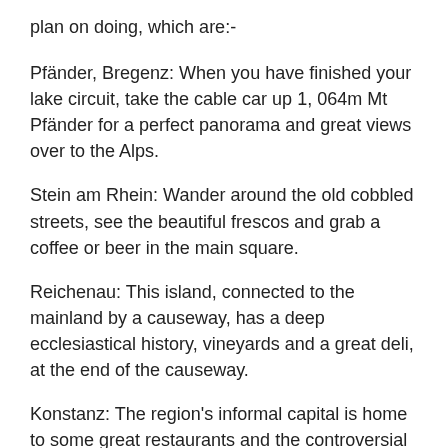plan on doing, which are:-
Pfänder, Bregenz: When you have finished your lake circuit, take the cable car up 1, 064m Mt Pfänder for a perfect panorama and great views over to the Alps.
Stein am Rhein: Wander around the old cobbled streets, see the beautiful frescos and grab a coffee or beer in the main square.
Reichenau: This island, connected to the mainland by a causeway, has a deep ecclesiastical history, vineyards and a great deli, at the end of the causeway.
Konstanz: The region's informal capital is home to some great restaurants and the controversial rotating Imperia, a statue of a courtesan holding a pope and an emperor in her hands.